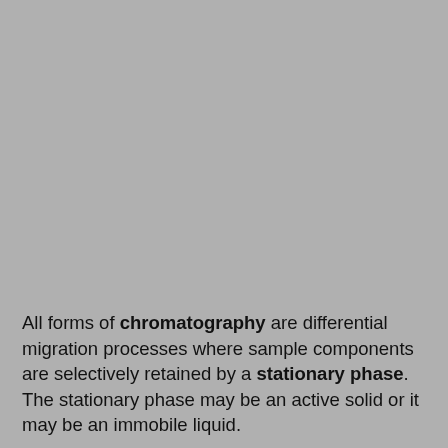[Figure (other): Large gray rectangular image placeholder occupying the upper portion of the page]
All forms of chromatography are differential migration processes where sample components are selectively retained by a stationary phase. The stationary phase may be an active solid or it may be an immobile liquid.